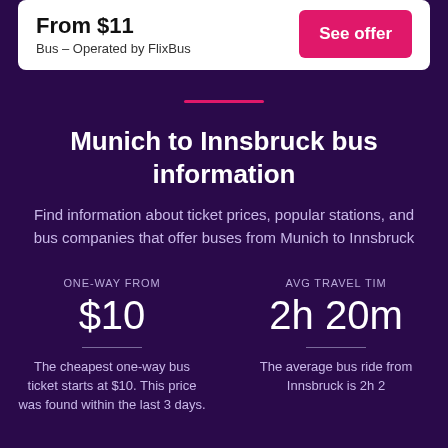From $11 Bus – Operated by FlixBus
See offer
Munich to Innsbruck bus information
Find information about ticket prices, popular stations, and bus companies that offer buses from Munich to Innsbruck
ONE-WAY FROM $10
AVG TRAVEL TIME 2h 20m
The cheapest one-way bus ticket starts at $10. This price was found within the last 3 days.
The average bus ride from Munich to Innsbruck is 2h 20m